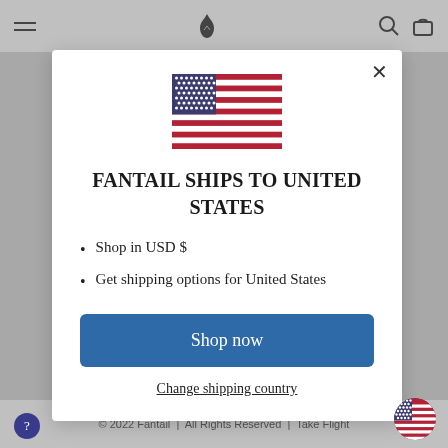[Figure (screenshot): Website navigation bar with hamburger menu, logo icon, search and bag icons on gray background]
[Figure (illustration): United States flag emoji displayed in modal dialog]
FANTAIL SHIPS TO UNITED STATES
Shop in USD $
Get shipping options for United States
Shop now
Change shipping country
© 2022 Fantail | All Rights Reserved | Take Flight